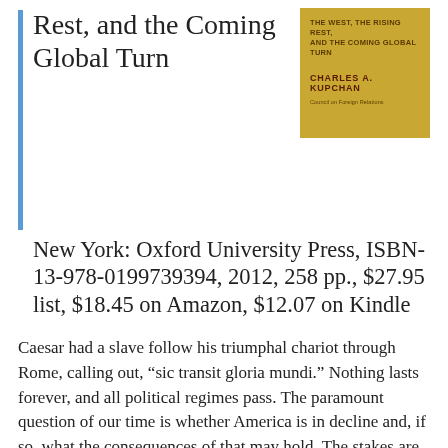Rest, and the Coming Global Turn
[Figure (illustration): Book cover with golden/yellow background. Title text at top: 'THE WEST, THE RISING REST, AND THE COMING GLOBAL TURN'. Author name: 'CHARLES A. KUPCHAN' in dark red/brown bold capitals.]
New York: Oxford University Press, ISBN-13-978-0199739394, 2012, 258 pp., $27.95 list, $18.45 on Amazon, $12.07 on Kindle
Caesar had a slave follow his triumphal chariot through Rome, calling out, “sic transit gloria mundi.” Nothing lasts forever, and all political regimes pass. The paramount question of our time is whether America is in decline and, if so, what the consequences of that may hold. The stakes are high